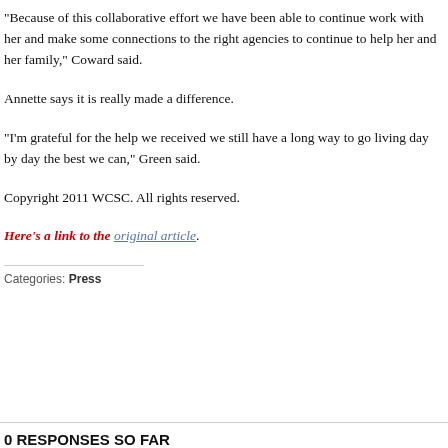"Because of this collaborative effort we have been able to continue work with her and make some connections to the right agencies to continue to help her and her family," Coward said.
Annette says it is really made a difference.
"I'm grateful for the help we received we still have a long way to go living day by day the best we can," Green said.
Copyright 2011 WCSC. All rights reserved.
Here's a link to the original article.
Categories:  Press
0 RESPONSES SO FAR